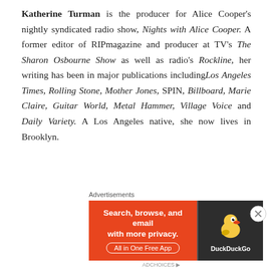Katherine Turman is the producer for Alice Cooper's nightly syndicated radio show, Nights with Alice Cooper. A former editor of RIPmagazine and producer at TV's The Sharon Osbourne Show as well as radio's Rockline, her writing has been in major publications including Los Angeles Times, Rolling Stone, Mother Jones, SPIN, Billboard, Marie Claire, Guitar World, Metal Hammer, Village Voice and Daily Variety. A Los Angeles native, she now lives in Brooklyn.
Advance Praise for LOUDER THAN HELL:
[Figure (other): DuckDuckGo advertisement banner: orange background with text 'Search, browse, and email with more privacy. All in One Free App' alongside the DuckDuckGo duck logo on a dark background.]